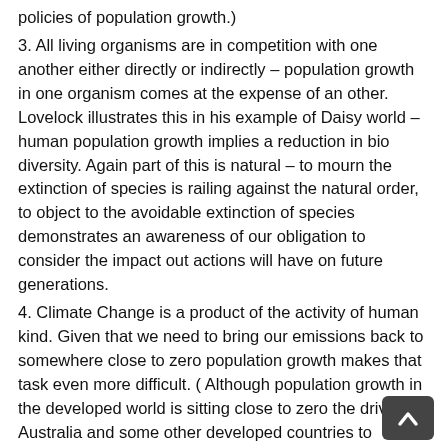policies of population growth.)
3. All living organisms are in competition with one another either directly or indirectly – population growth in one organism comes at the expense of an other. Lovelock illustrates this in his example of Daisy world – human population growth implies a reduction in bio diversity. Again part of this is natural – to mourn the extinction of species is railing against the natural order, to object to the avoidable extinction of species demonstrates an awareness of our obligation to consider the impact out actions will have on future generations.
4. Climate Change is a product of the activity of human kind. Given that we need to bring our emissions back to somewhere close to zero population growth makes that task even more difficult. ( Although population growth in the developed world is sitting close to zero the drive in Australia and some other developed countries to increase our population means that we have to make even deeper cuts in emissions just to meet the absurdly inadequate targets we have already set.)